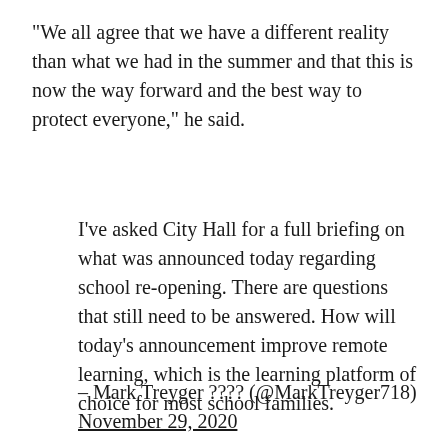"We all agree that we have a different reality than what we had in the summer and that this is now the way forward and the best way to protect everyone," he said.
I've asked City Hall for a full briefing on what was announced today regarding school re-opening. There are questions that still need to be answered. How will today's announcement improve remote learning, which is the learning platform of choice for most school families.
– Mark Treyger ???? (@MarkTreyger718) November 29, 2020